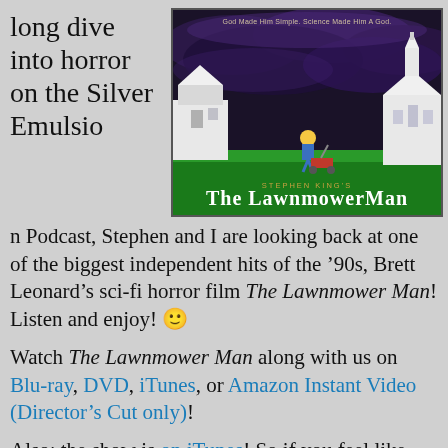long dive into horror on the Silver Emulsion Podcast
[Figure (photo): Movie poster for Stephen King's The Lawnmower Man. Dark stormy sky with purple clouds, a figure pushing a lawnmower on green grass between white buildings. Text reads 'God Made Him Simple. Science Made Him A God.' and 'STEPHEN KING'S THE LAWNMOWER MAN'.]
n Podcast, Stephen and I are looking back at one of the biggest independent hits of the '90s, Brett Leonard's sci-fi horror film The Lawnmower Man! Listen and enjoy! 🙂
Watch The Lawnmower Man along with us on Blu-ray, DVD, iTunes, or Amazon Instant Video (Director's Cut only)!
Also: the show is on iTunes! So if you feel like